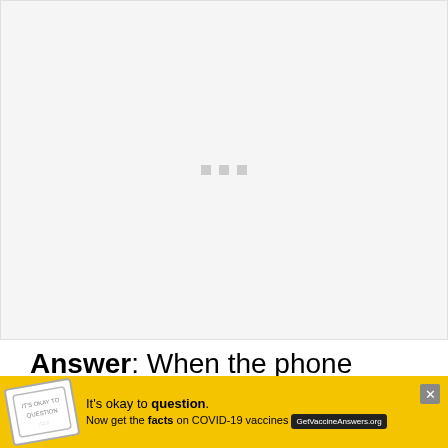[Figure (other): Loading placeholder with three small gray squares arranged horizontally in the center of a light gray rectangle]
Answer: When the phone freezes or hangs, it's experiencing a serious performance problem, which may be c…
[Figure (infographic): Yellow advertisement banner for COVID-19 vaccine information. Text reads: It's okay to question. Now get the facts on COVID-19 vaccines. GetVaccineAnswers.org. Features a stamp-like graphic on the left, a close button (X) on the right, and a WW logo.]